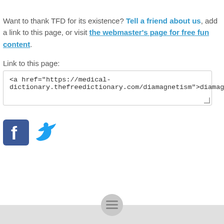Want to thank TFD for its existence? Tell a friend about us, add a link to this page, or visit the webmaster's page for free fun content.
Link to this page:
<a href="https://medical-dictionary.thefreedictionary.com/diamagnetism">diamagnetism</a>
[Figure (logo): Facebook and Twitter social media icons]
hamburger menu button